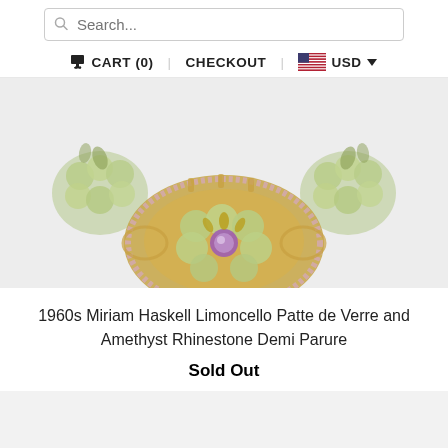Search...
CART (0)  CHECKOUT  USD
[Figure (photo): Vintage jewelry photo showing a gold brooch with pale green Patte de Verre glass beads and amethyst rhinestones, plus matching earring clips visible at top.]
1960s Miriam Haskell Limoncello Patte de Verre and Amethyst Rhinestone Demi Parure
Sold Out